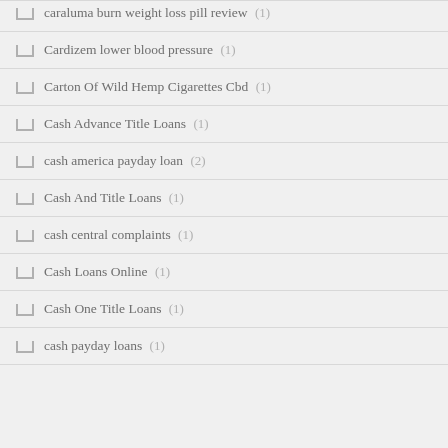caraluma burn weight loss pill review (1)
Cardizem lower blood pressure (1)
Carton Of Wild Hemp Cigarettes Cbd (1)
Cash Advance Title Loans (1)
cash america payday loan (2)
Cash And Title Loans (1)
cash central complaints (1)
Cash Loans Online (1)
Cash One Title Loans (1)
cash payday loans (1)